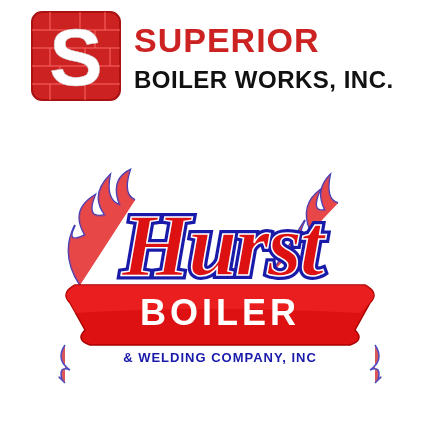[Figure (logo): Superior Boiler Works, Inc. logo — red brick-patterned 'S' shield mark on left with bold black text 'SUPERIOR BOILER WORKS, INC.' on right]
[Figure (logo): Hurst Boiler & Welding Company, Inc. logo — stylized red and blue flame-decorated script 'Hurst' lettering above a red banner reading 'BOILER & WELDING COMPANY, INC']